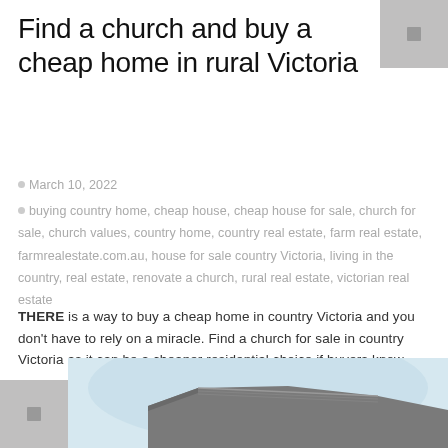Find a church and buy a cheap home in rural Victoria
March 10, 2022
buying country home, cheap house, cheap house for sale, church for sale, church values, country home, country real estate, farm real estate, farmrealestate.com.au, house for sale country Victoria, living in the country, real estate, renovate a church, rural real estate, victorian real estate
THERE is a way to buy a cheap home in country Victoria and you don't have to rely on a miracle. Find a church for sale in country Victoria as it can be a cheaper residential choice if buyers know...
Read More
[Figure (photo): Partial view of a building roofline with light blue sky background, bottom of page]